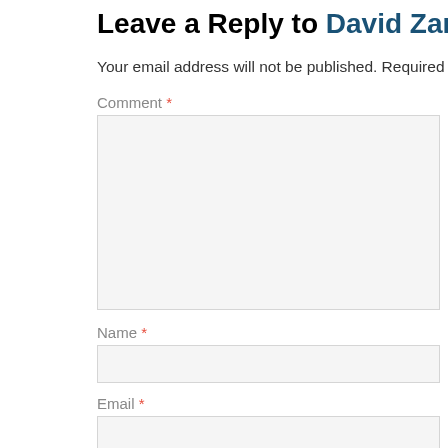Leave a Reply to David Zamora Cancel reply
Your email address will not be published. Required fields are m
Comment *
Name *
Email *
Website